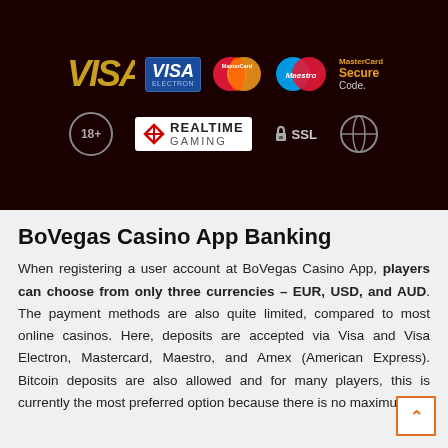[Figure (screenshot): Dark banner showing payment logos: VISA (gold italic), VISA Electron (blue box), MasterCard circles, Maestro, MasterCard SecureCode. Second row: 18+ circle, RealTime Gaming logo, SSL badge, circular badge.]
BoVegas Casino App Banking
When registering a user account at BoVegas Casino App, players can choose from only three currencies – EUR, USD, and AUD. The payment methods are also quite limited, compared to most online casinos. Here, deposits are accepted via Visa and Visa Electron, Mastercard, Maestro, and Amex (American Express). Bitcoin deposits are also allowed and for many players, this is currently the most preferred option because there is no maximum